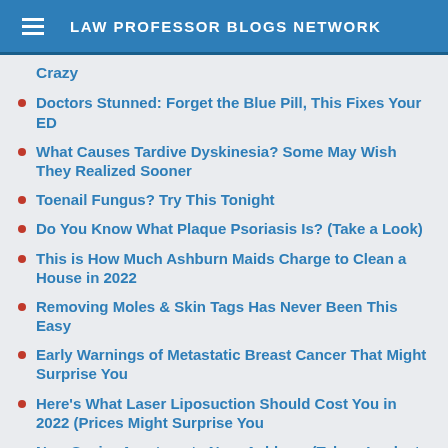LAW PROFESSOR BLOGS NETWORK
Crazy
Doctors Stunned: Forget the Blue Pill, This Fixes Your ED
What Causes Tardive Dyskinesia? Some May Wish They Realized Sooner
Toenail Fungus? Try This Tonight
Do You Know What Plaque Psoriasis Is? (Take a Look)
This is How Much Ashburn Maids Charge to Clean a House in 2022
Removing Moles & Skin Tags Has Never Been This Easy
Early Warnings of Metastatic Breast Cancer That Might Surprise You
Here's What Laser Liposuction Should Cost You in 2022 (Prices Might Surprise You
New Senior Apartments Near Ashburn (Take a Look at the Prices)